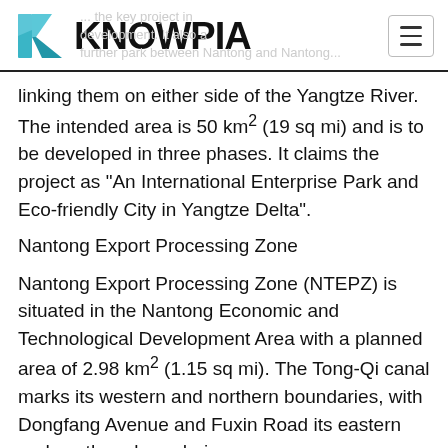KNOWPIA
linking them on either side of the Yangtze River. The intended area is 50 km2 (19 sq mi) and is to be developed in three phases. It claims the project as "An International Enterprise Park and Eco-friendly City in Yangtze Delta".
Nantong Export Processing Zone
Nantong Export Processing Zone (NTEPZ) is situated in the Nantong Economic and Technological Development Area with a planned area of 2.98 km2 (1.15 sq mi). The Tong-Qi canal marks its western and northern boundaries, with Dongfang Avenue and Fuxin Road its eastern and southern boundaries respectively. NTPEZ is located at a communication hub, adjoining the main coastal artery of